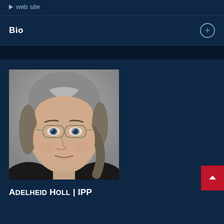▶ web site
Bio
[Figure (photo): Headshot photo of Adelheid Holl, a woman with grey-streaked hair pulled back, wearing glasses, dark top, grey background]
Adelheid Holl | IPP